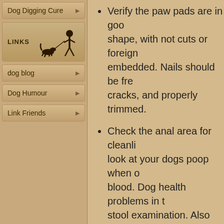Dog Digging Cure
LINKS
dog blog
Dog Humour
Link Friends
Verify the paw pads are in good shape, with not cuts or foreign embedded. Nails should be free cracks, and properly trimmed.
Check the anal area for cleanliness look at your dogs poop when o blood. Dog health problems in stool examination. Also see dea
Of course, proper health includes garbage out, and this is particularl
Please be informed, and educate Advice and get your puppy on the daily symptoms exam should take preventative way to avoid major d
The more you learn what is norma can get proper treatment, and/or v